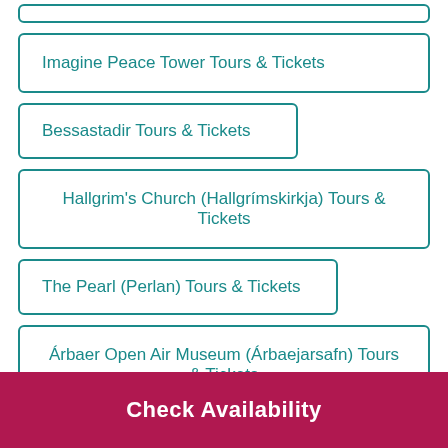Imagine Peace Tower Tours & Tickets
Bessastadir Tours & Tickets
Hallgrim's Church (Hallgrímskirkja) Tours & Tickets
The Pearl (Perlan) Tours & Tickets
Árbaer Open Air Museum (Árbaejarsafn) Tours & Tickets
Silfra Fissure Tours & Tickets
(partial, cut off)
Check Availability